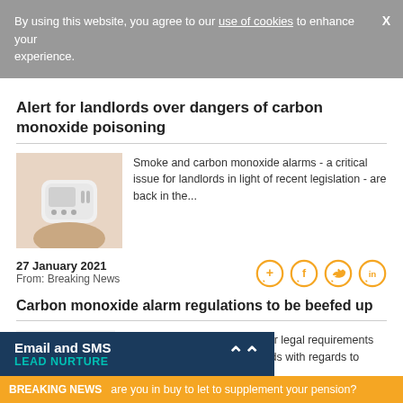By using this website, you agree to our use of cookies to enhance your experience.
Alert for landlords over dangers of carbon monoxide poisoning
Smoke and carbon monoxide alarms - a critical issue for landlords in light of recent legislation - are back in the...
27 January 2021
From: Breaking News
Carbon monoxide alarm regulations to be beefed up
There may be new and stricter legal requirements on the way for private landlords with regards to carbon monoxide
Email and SMS LEAD NURTURE
BREAKING NEWS   are you in buy to let to supplement your pension?